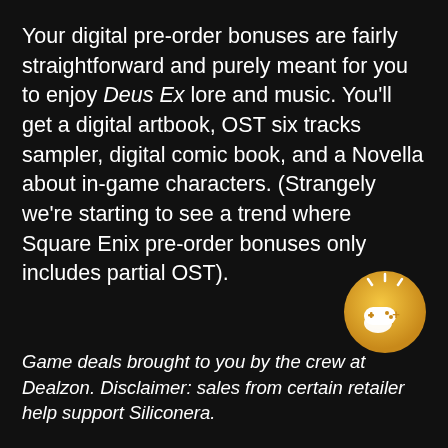Your digital pre-order bonuses are fairly straightforward and purely meant for you to enjoy Deus Ex lore and music. You'll get a digital artbook, OST six tracks sampler, digital comic book, and a Novella about in-game characters. (Strangely we're starting to see a trend where Square Enix pre-order bonuses only includes partial OST).
[Figure (logo): Gold circular logo with a hand holding a game controller and a plus sign, representing Dealzon game deals.]
Game deals brought to you by the crew at Dealzon. Disclaimer: sales from certain retailer help support Siliconera.